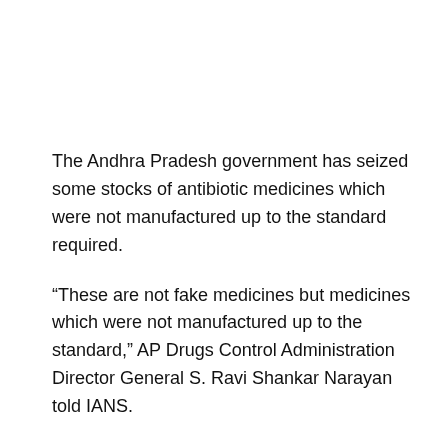The Andhra Pradesh government has seized some stocks of antibiotic medicines which were not manufactured up to the standard required.
“These are not fake medicines but medicines which were not manufactured up to the standard,” AP Drugs Control Administration Director General S. Ravi Shankar Narayan told IANS.
DCA has seized different strengths and combinations of substandard manufactured antibiotic Azithromycin from Rajahmundry, Bhimavaram and Vijayawada.